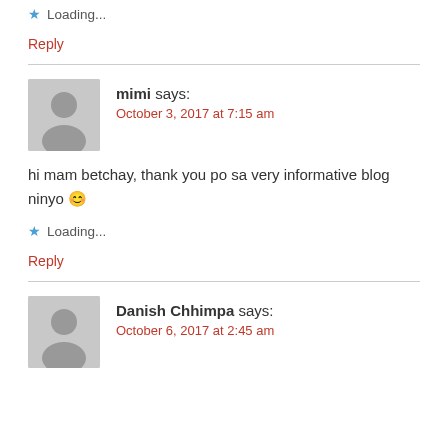Loading...
Reply
mimi says:
October 3, 2017 at 7:15 am
hi mam betchay, thank you po sa very informative blog ninyo 😊
Loading...
Reply
Danish Chhimpa says:
October 6, 2017 at 2:45 am